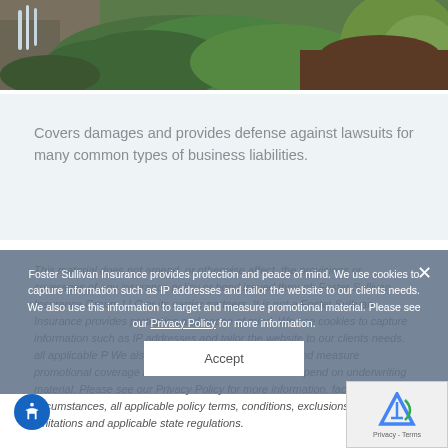[Figure (photo): Garden landscape with waterfall, green shrubs and hostas plants]
Covers damages and provides defense against lawsuits for many common types of business liabilities.
This material does not amend, or otherwise affect, the provisions or coverages of any insurance policy or bond issued through Foster Sullivan Insurance Group, LLC or its carrier partners. It is not a Foster Sullivan Insurance provides protection and peace of mind. We use cookies to capture information such as IP addresses and tailor the website to our clients needs. all applicable P We also use this information to target and measure promotional coverage referenced in this website can depend on underwriting material. Please see our Privacy Policy for more information. facts and circumstances, all applicable policy terms, conditions, exclusions and limitations and applicable state regulations.
Foster Sullivan Insurance provides protection and peace of mind. We use cookies to capture information such as IP addresses and tailor the website to our clients needs. We also use this information to target and measure promotional material. Please see our Privacy Policy for more information.